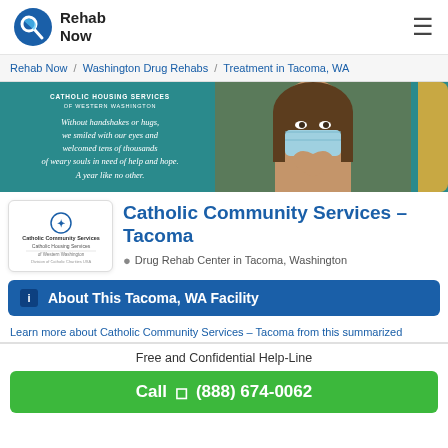Rehab Now
Rehab Now / Washington Drug Rehabs / Treatment in Tacoma, WA
[Figure (photo): Hero banner for Catholic Housing Services of Western Washington with a quote and a photo of a woman wearing a face mask making a heart shape with her hands]
[Figure (logo): Catholic Community Services / Catholic Housing Services logo]
Catholic Community Services – Tacoma
Drug Rehab Center in Tacoma, Washington
About This Tacoma, WA Facility
Learn more about Catholic Community Services – Tacoma from this summarized
Free and Confidential Help-Line
Call (888) 674-0062